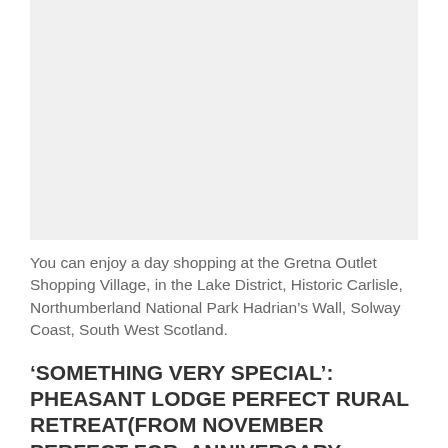[Figure (photo): Image placeholder / blank image area at top of page]
You can enjoy a day shopping at the Gretna Outlet Shopping Village, in the Lake District, Historic Carlisle, Northumberland National Park Hadrian’s Wall, Solway Coast, South West Scotland.
‘SOMETHING VERY SPECIAL’: PHEASANT LODGE PERFECT RURAL RETREAT(From NOVEMBER PERFECT FOR  ANNIVERSARY